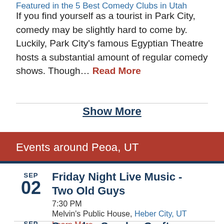Featured in the 5 Best Comedy Clubs in Utah
If you find yourself as a tourist in Park City, comedy may be slightly hard to come by. Luckily, Park City's famous Egyptian Theatre hosts a substantial amount of regular comedy shows. Though... Read More
Show More
Events around Peoa, UT
SEP 02 Friday Night Live Music - Two Old Guys 7:30 PM Melvin's Public House, Heber City, UT Learn More
SEP Sauerk... Sunday Craft